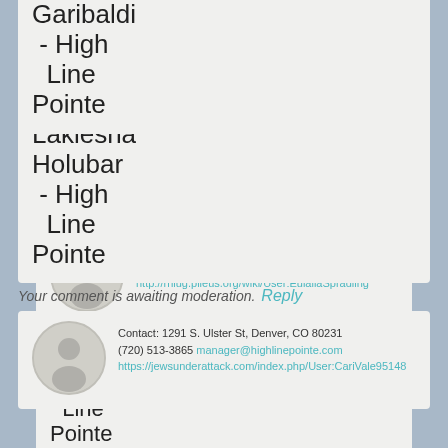Garibaldi - High Line Pointe
Your comment is awaiting moderation.
Reply
Contact: 1291 S. Ulster St, Denver, CO 80231 (720) 513-3865 manager@highlinepointe.com http://rhlug.pileus.org/wiki/User:EulaliaSpradling
Lakiesha Holubar - High Line Pointe
Your comment is awaiting moderation.
Reply
Contact: 1291 S. Ulster St, Denver, CO 80231 (720) 513-3865 manager@highlinepointe.com https://jewsunderattack.com/index.php/User:CariVale95148